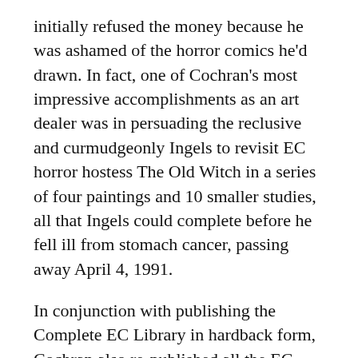initially refused the money because he was ashamed of the horror comics he'd drawn. In fact, one of Cochran's most impressive accomplishments as an art dealer was in persuading the reclusive and curmudgeonly Ingels to revisit EC horror hostess The Old Witch in a series of four paintings and 10 smaller studies, all that Ingels could complete before he fell ill from stomach cancer, passing away April 4, 1991.
In conjunction with publishing the Complete EC Library in hardback form, Cochran also re-published all the EC New Trend and New Direction comics in a variety of formats, including EC Classics, which collected randomly selected stories between heavy glossy covers. Cochran put out 11 EC Classics that reprinted stories from Haunt of Fear, Tales from the Crypt, Weird Science, Weird Fantasy, Two-Fisted Tales, Crime SuspenStories, Shock SuspenStories, Panic and